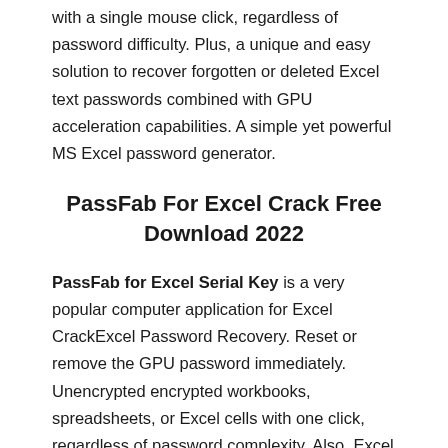with a single mouse click, regardless of password difficulty. Plus, a unique and easy solution to recover forgotten or deleted Excel text passwords combined with GPU acceleration capabilities. A simple yet powerful MS Excel password generator.
PassFab For Excel Crack Free Download 2022
PassFab for Excel Serial Key is a very popular computer application for Excel CrackExcel Password Recovery. Reset or remove the GPU password immediately. Unencrypted encrypted workbooks, spreadsheets, or Excel cells with one click, regardless of password complexity. Also, Excel Password Recovery. All in all, quickly recover or remove passwords in the Excel workbook with GPU acceleration. Unencrypted encrypted workbooks, spreadsheets, or Excel cells with one click, regardless of password complexity.